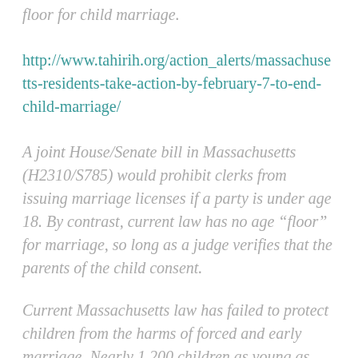floor for child marriage.
http://www.tahirih.org/action_alerts/massachusetts-residents-take-action-by-february-7-to-end-child-marriage/
A joint House/Senate bill in Massachusetts (H2310/S785) would prohibit clerks from issuing marriage licenses if a party is under age 18. By contrast, current law has no age “floor” for marriage, so long as a judge verifies that the parents of the child consent.
Current Massachusetts law has failed to protect children from the harms of forced and early marriage. Nearly 1,200 children as young as age 14 were married between 2000 and 2014, and most